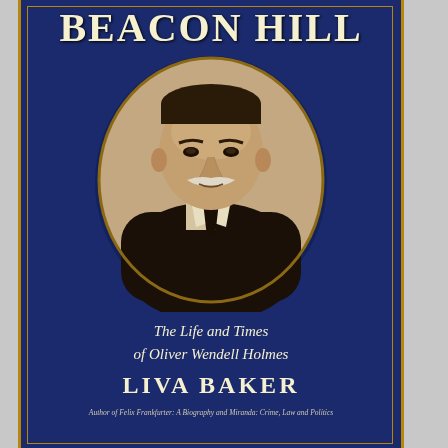BEACON HILL
[Figure (photo): Oval-framed sepia portrait photograph of Oliver Wendell Holmes, an older gentleman with a white mustache wearing a dark suit and tie.]
The Life and Times of Oliver Wendell Holmes
LIVA BAKER
Author of Felix Frankfurter: A Biography and Miranda: Crime, Law and Politics